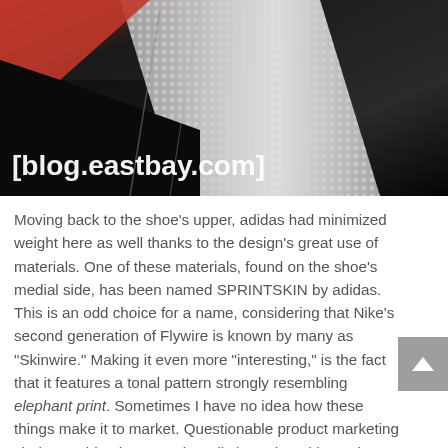[Figure (photo): Close-up photo of a shoe with black, red and white colors showing laces and texture detail. Watermark text '[blog.eastbay.com]' overlaid in white bold text at bottom left of image.]
Moving back to the shoe's upper, adidas had minimized weight here as well thanks to the design's great use of materials. One of these materials, found on the shoe's medial side, has been named SPRINTSKIN by adidas. This is an odd choice for a name, considering that Nike's second generation of Flywire is known by many as "Skinwire." Making it even more "interesting," is the fact that it features a tonal pattern strongly resembling elephant print. Sometimes I have no idea how these things make it to market. Questionable product marketing choices aside, the upper is well shaped, and hugs the foot very nicely when the laces are snugged. I did have a bit of a problem getting the shoe laced tightly though. Metal eyeleys line the shoe's lace holes, and don't provide enough friction to easily lace up. You can